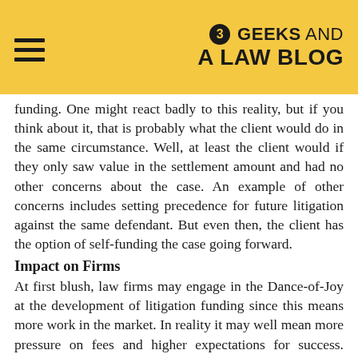3 GEEKS AND A LAW BLOG
funding. One might react badly to this reality, but if you think about it, that is probably what the client would do in the same circumstance. Well, at least the client would if they only saw value in the settlement amount and had no other concerns about the case. An example of other concerns includes setting precedence for future litigation against the same defendant. But even then, the client has the option of self-funding the case going forward.
Impact on Firms
At first blush, law firms may engage in the Dance-of-Joy at the development of litigation funding since this means more work in the market. In reality it may well mean more pressure on fees and higher expectations for success. Firms may now have another party involved in evaluating their fees. And this one cares a lot more about the financial aspects of the case. Meanwhile, firms remain beholden to the wishes of the client in matters of case management. With the client not paying, one